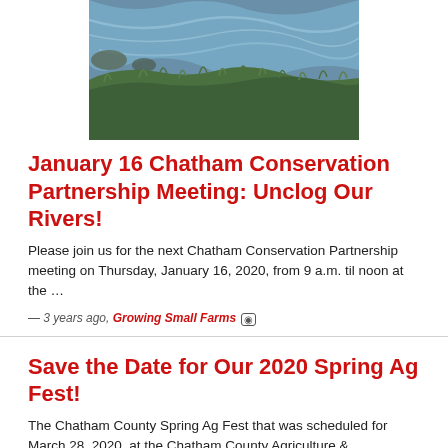[Figure (photo): Photo of a river or stream with flowing water over rocks, with green grass and vegetation visible along the banks.]
January 16 Chatham Conservation Partnership Meeting: Unclog Our Rivers!
Please join us for the next Chatham Conservation Partnership meeting on Thursday, January 16, 2020, from 9 a.m. til noon at the …
— 3 years ago,  Growing Small Farms  [o]
Save the Date for Our 2020 Spring Ag Fest!
The Chatham County Spring Ag Fest that was scheduled for March 28, 2020, at the Chatham County Agriculture & …